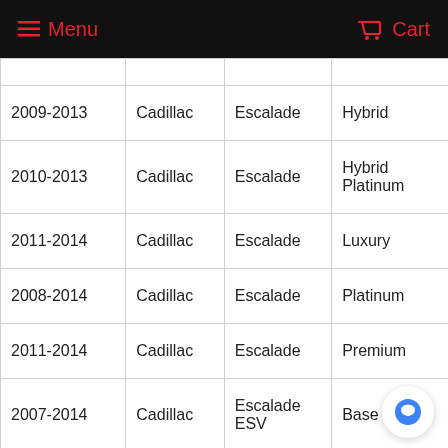Menu  Cart
|  |  |  |  |
| --- | --- | --- | --- |
| 2009-2013 | Cadillac | Escalade | Hybrid |
| 2010-2013 | Cadillac | Escalade | Hybrid Platinum |
| 2011-2014 | Cadillac | Escalade | Luxury |
| 2008-2014 | Cadillac | Escalade | Platinum |
| 2011-2014 | Cadillac | Escalade | Premium |
| 2007-2014 | Cadillac | Escalade ESV | Base |